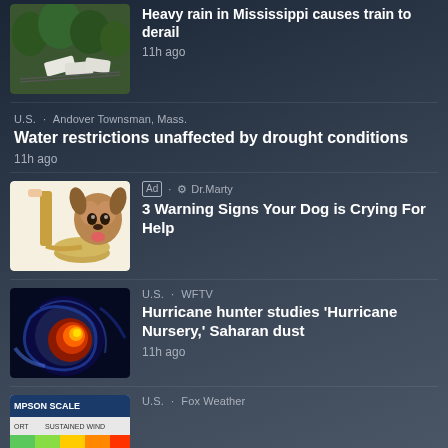[Figure (photo): Aerial photo of train derailment in Mississippi with green trees and white train cars]
Heavy rain in Mississippi causes train to derail
11h ago
U.S. · Andover Townsman, Mass.
Water restrictions unaffected by drought conditions
11h ago
[Figure (illustration): Illustration of a dog being given food from a bottle into a bowl]
Ad · Dr.Marty
3 Warning Signs Your Dog is Crying For Help
[Figure (photo): Satellite weather map showing hurricane with red, orange and blue colors]
U.S. · WFTV
Hurricane hunter studies 'Hurricane Nursery,' Saharan dust
11h ago
[Figure (screenshot): Simpson scale chart showing sustained wind speeds]
U.S. · Fox Weather